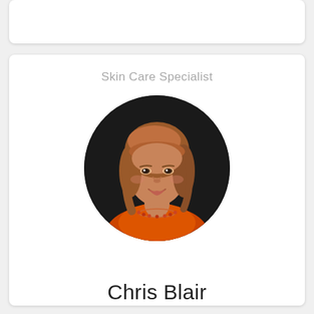[Figure (other): Partial top card (cropped, no visible content)]
Skin Care Specialist
[Figure (photo): Circular cropped headshot of Chris Blair, a woman with reddish-brown shoulder-length hair, wearing an orange top and a beaded necklace, smiling against a dark background]
Chris Blair